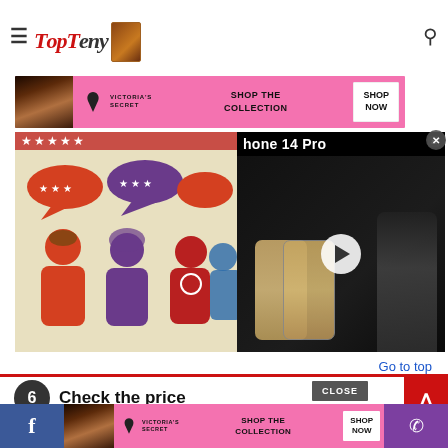[Figure (screenshot): TopTeny website header with logo, hamburger menu, search icon, and top ad banner showing '37 Items People to Purchase on Amazon']
[Figure (screenshot): Victoria's Secret advertisement banner with shop the collection text and Shop Now button]
[Figure (photo): Customer review illustration with colorful silhouette figures and speech bubbles with star ratings]
[Figure (screenshot): iPhone 14 Pro promotional video overlay with play button]
Go to top
6 Check the price
[Figure (screenshot): Bottom Victoria's Secret advertisement banner]
[Figure (screenshot): Bottom social bar with Facebook and phone icons]